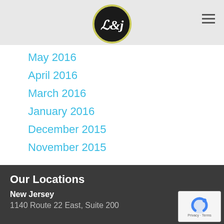[Figure (logo): L&J logo — circular black badge with olive-green border, white italic L&J lettering]
May 2016
April 2016
March 2016
January 2016
December 2015
November 2015
Our Locations
New Jersey
1140 Route 22 East, Suite 200